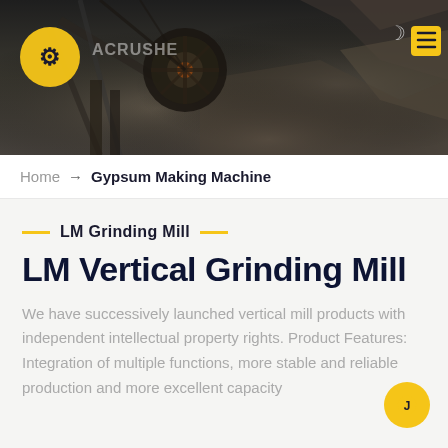[Figure (screenshot): Hero header image showing industrial mining/crushing equipment against dark rocky background, with orange logo and navigation icons]
Home → Gypsum Making Machine
LM Grinding Mill
LM Vertical Grinding Mill
We have successively launched vertical mill products with independent intellectual property rights. Product Features: Integration of multiple functions, more stable and reliable production and more excellent capacity